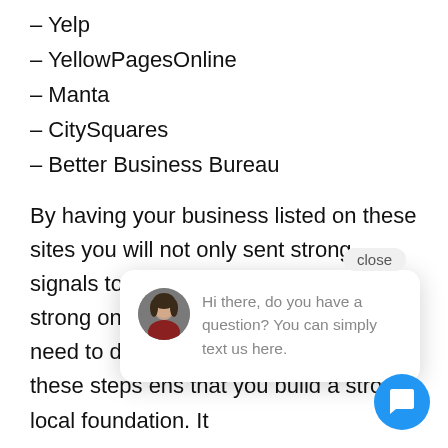– Yelp
– YellowPagesOnline
– Manta
– CitySquares
– Better Business Bureau
By having your business listed on these sites you will not only sent strong signals to Google that business, yo strong onlin definitely more that you will need to do to build your presence as these steps ens that you build a strong local foundation. It
[Figure (screenshot): Chat popup overlay with avatar photo of a woman, text 'Hi there, do you have a question? You can simply text us here.' and a 'close' button. A blue circular chat button is in the bottom right.]